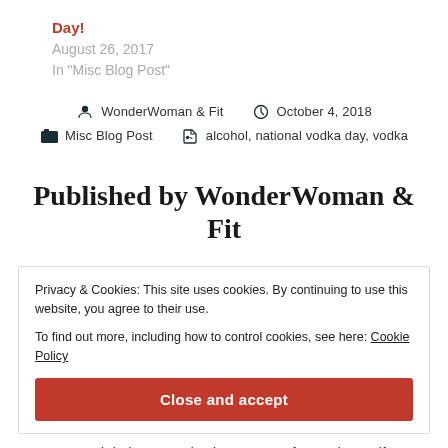Day!
August 26, 2017
In "Misc Blog Post"
WonderWoman & Fit   October 4, 2018   Misc Blog Post   alcohol, national vodka day, vodka
Published by WonderWoman & Fit
Privacy & Cookies: This site uses cookies. By continuing to use this website, you agree to their use.
To find out more, including how to control cookies, see here: Cookie Policy
Close and accept
moved during a pandemic, now I am focused on self